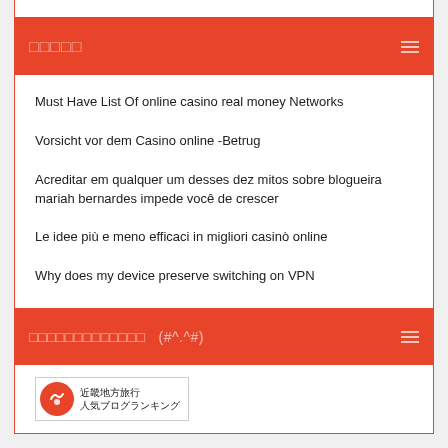□□□□□
Must Have List Of online casino real money Networks
Vorsicht vor dem Casino online -Betrug
Acreditar em qualquer um desses dez mitos sobre blogueira mariah bernardes impede você de crescer
Le idee più e meno efficaci in migliori casinò online
Why does my device preserve switching on VPN
□□□□□□□□□□□□□  (#^.^#)
[Figure (logo): 近畿地方旅行 人気ブログランキング badge with red circular icon]